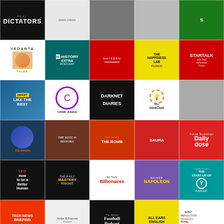[Figure (infographic): Grid of 25 podcast cover art thumbnails arranged in 5 columns and 5 rows. Podcasts include: Real Dictators, History Extra Podcast, Mayfern(?), The Happiness Lab, StarTalk with Neil deGrasse Tyson, Vedanta Talks, Crime Junkie, Darknet Diaries, HBR IdeaCast, Invest Like the Best, The Rest is History, BBC The Bomb, Joe Rogan(?), Saura, Daily Dose, TED How to be a Better Human, The Daily Mastery Podcast, We Study Billionaires, Napoleon (Noiser), The Start-Up of You, Tech News Briefing (WSJ), Jordan B. Peterson Podcast, The Athletic Football Podcast, All Ears English, Soul Reflection BK Shivani]